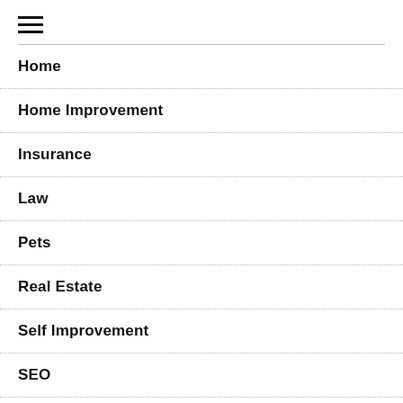[Figure (other): Hamburger menu icon (three horizontal lines)]
Home
Home Improvement
Insurance
Law
Pets
Real Estate
Self Improvement
SEO
Shopping
Social Media